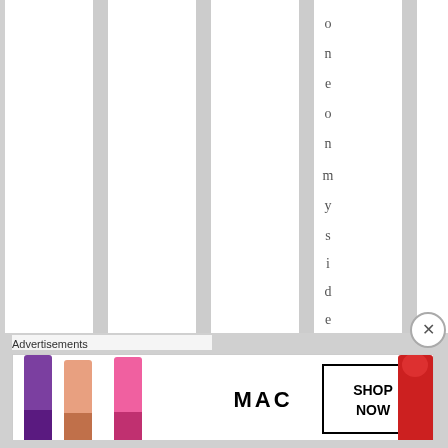[Figure (illustration): Striped background with vertical columns of alternating white and light gray, with vertically oriented text reading 'on one on my side, who chou' visible in one column]
o n e o n m y s i d e , w h o c h o u
Advertisements
[Figure (photo): MAC cosmetics advertisement showing lipsticks in purple, pink, and red with MAC logo and SHOP NOW button]